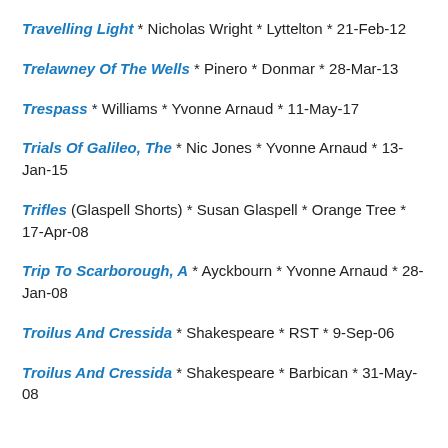Travelling Light * Nicholas Wright * Lyttelton * 21-Feb-12
Trelawney Of The Wells * Pinero * Donmar * 28-Mar-13
Trespass * Williams * Yvonne Arnaud * 11-May-17
Trials Of Galileo, The * Nic Jones * Yvonne Arnaud * 13-Jan-15
Trifles (Glaspell Shorts) * Susan Glaspell * Orange Tree * 17-Apr-08
Trip To Scarborough, A * Ayckbourn * Yvonne Arnaud * 28-Jan-08
Troilus And Cressida * Shakespeare * RST * 9-Sep-06
Troilus And Cressida * Shakespeare * Barbican * 31-May-08